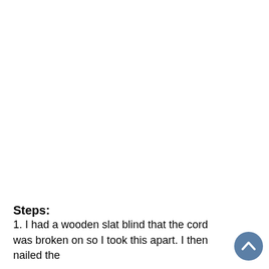Steps:
1. I had a wooden slat blind that the cord was broken on so I took this apart. I then nailed the